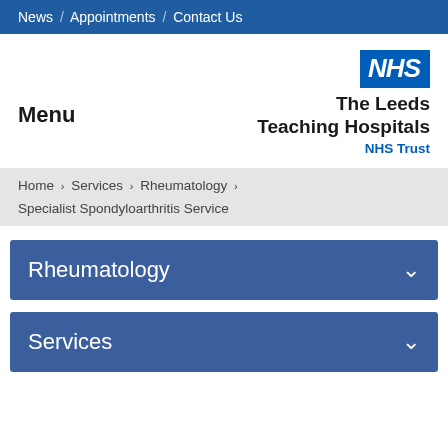News / Appointments / Contact Us
Menu
[Figure (logo): NHS logo and The Leeds Teaching Hospitals NHS Trust wordmark]
Home > Services > Rheumatology > Specialist Spondyloarthritis Service
Rheumatology
Services